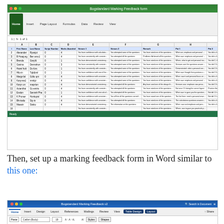[Figure (screenshot): Screenshot of Microsoft Excel spreadsheet titled 'Bogstandard Marking Feedback form' showing a grid with student data including first names, last names, script number, marks, and feedback columns]
Then, set up a marking feedback form in Word similar to this one:
[Figure (screenshot): Screenshot of Microsoft Word document titled 'Bogstandard Marking Feedback v2' showing the Home ribbon with Table Design and Layout tabs highlighted]